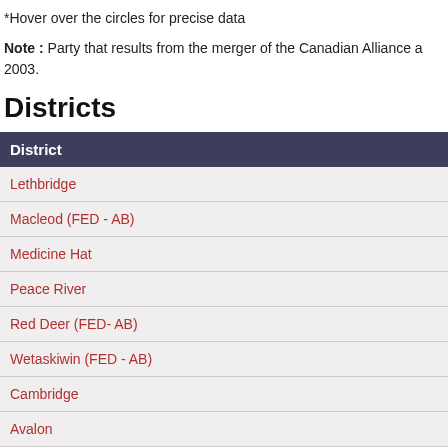*Hover over the circles for precise data
Note : Party that results from the merger of the Canadian Alliance a… 2003.
Districts
| District |
| --- |
| Lethbridge |
| Macleod (FED - AB) |
| Medicine Hat |
| Peace River |
| Red Deer (FED- AB) |
| Wetaskiwin (FED - AB) |
| Cambridge |
| Avalon |